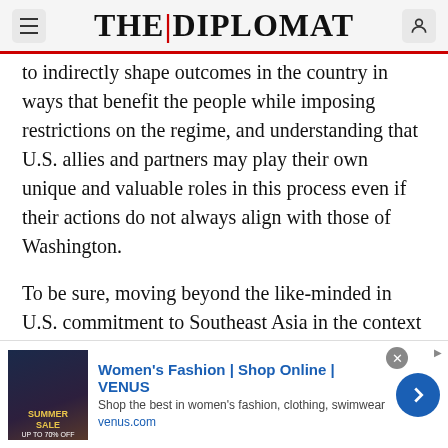THE | DIPLOMAT
to indirectly shape outcomes in the country in ways that benefit the people while imposing restrictions on the regime, and understanding that U.S. allies and partners may play their own unique and valuable roles in this process even if their actions do not always align with those of Washington.
To be sure, moving beyond the like-minded in U.S. commitment to Southeast Asia in the context of the Indo-Pacific is easier said than done. Given the domestic constraints and vast array of foreign policy challenges that the Biden team faces, engaging more like-minded allies and partners initially might be seen as a way to lock in some
[Figure (screenshot): Advertisement banner for Women's Fashion at VENUS (venus.com) with a sale image on left, blue text headline, description, and a blue arrow button on right, with an X close button.]